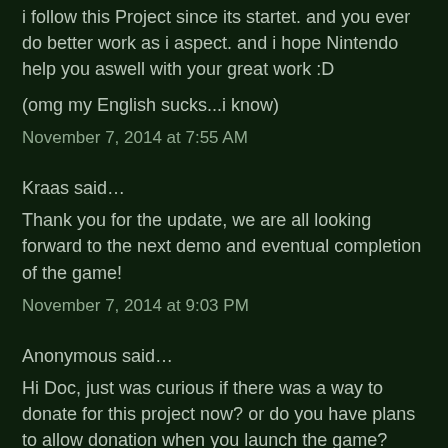i follow this Project since its startet. and you ever do better work as i aspect. and i hope Nintendo help you aswell with your great work :D
(omg my English sucks...i know)
November 7, 2014 at 7:55 AM
Kraas said...
Thank you for the update, we are all looking forward to the next demo and eventual completion of the game!
November 7, 2014 at 9:03 PM
Anonymous said...
Hi Doc, just was curious if there was a way to donate for this project now? or do you have plans to allow donation when you launch the game?